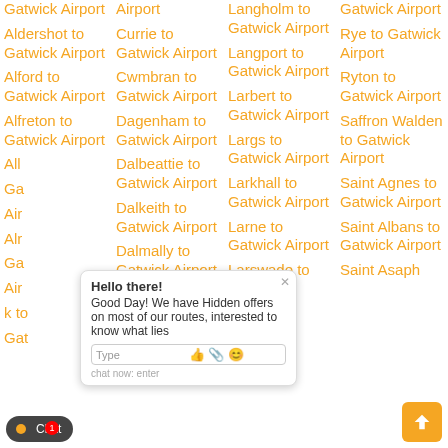Gatwick Airport
Aldershot to Gatwick Airport
Alford to Gatwick Airport
Alfreton to Gatwick Airport
All ... to Gatwick Airport
Alr... to Gatwick Airport
Gatwick to Gatwick Airport
Airport
Airport to Currie to Gatwick Airport
Cwmbran to Gatwick Airport
Dagenham to Gatwick Airport
Dalbeattie to Gatwick Airport
Dalkeith to Gatwick Airport
Dalmally to Gatwick Airport
Langholm to Gatwick Airport
Langport to Gatwick Airport
Larbert to Gatwick Airport
Largs to Gatwick Airport
Larkhall to Gatwick Airport
Larne to Gatwick Airport
Larswade to
Gatwick Airport
Rye to Gatwick Airport
Ryton to Gatwick Airport
Saffron Walden to Gatwick Airport
Saint Agnes to Gatwick Airport
Saint Albans to Gatwick Airport
Saint Asaph